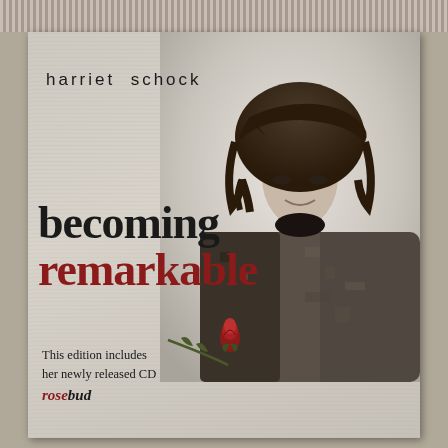[Figure (photo): Book cover for 'becoming remarkable' by harriet schock. Black and white photo of a woman with curly dark hair wearing a patterned coat, set against a textured light background. A red rose bud with stem is visible in the lower left. Text on cover includes author name 'harriet schock', title 'becoming remarkable' (remarkable in red), and a note about a CD called 'rosebud' (rose in red).]